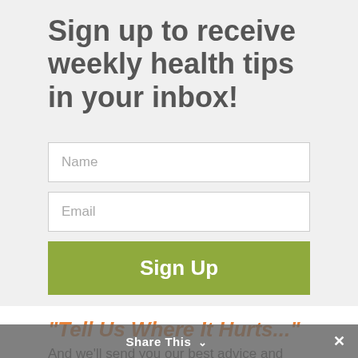Sign up to receive weekly health tips in your inbox!
Name
Email
Sign Up
"Tell Us Where It Hurts..."
And we'll send you our best advice and
Share This ∨  ×